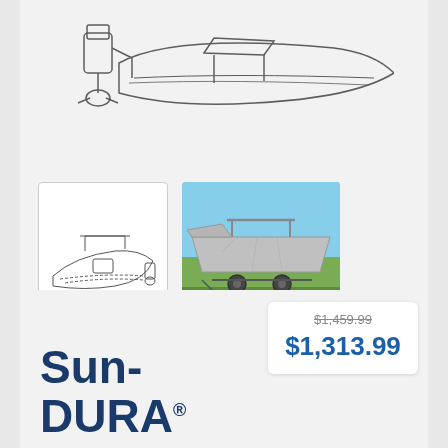[Figure (illustration): Line drawing sketch of a speedboat with outboard motor, top portion visible]
[Figure (illustration): Thumbnail line drawing of a V-Hull center console fishing boat with T-Top cover]
[Figure (photo): Photo of a grey boat cover with T-Top on a trailer on grass]
V-Hull Center Console Fishing Boats with T-Top
$1,459.99
$1,313.99
Sun-DURA®